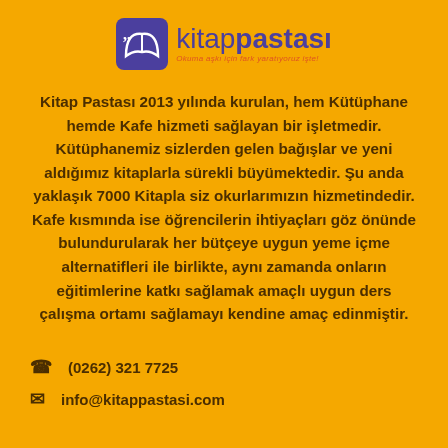[Figure (logo): Kitap Pastası logo with stylized book/cat icon and brand name. Tagline: Okuma aşkı için fark yaratıyoruz işte!]
Kitap Pastası 2013 yılında kurulan, hem Kütüphane hemde Kafe hizmeti sağlayan bir işletmedir. Kütüphanemiz sizlerden gelen bağışlar ve yeni aldığımız kitaplarla sürekli büyümektedir. Şu anda yaklaşık 7000 Kitapla siz okurlarımızın hizmetindedir. Kafe kısmında ise öğrencilerin ihtiyaçları göz önünde bulundurularak her bütçeye uygun yeme içme alternatifleri ile birlikte, aynı zamanda onların eğitimlerine katkı sağlamak amaçlı uygun ders çalışma ortamı sağlamayı kendine amaç edinmiştir.
(0262) 321 7725
info@kitappastasi.com